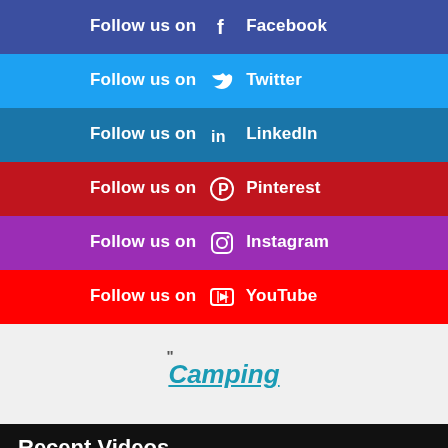Follow us on Facebook
Follow us on Twitter
Follow us on LinkedIn
Follow us on Pinterest
Follow us on Instagram
Follow us on YouTube
[Figure (logo): Camping logo in teal italic underlined text with decorative quotation marks above]
Recent Videos
Mount Rainier National Park